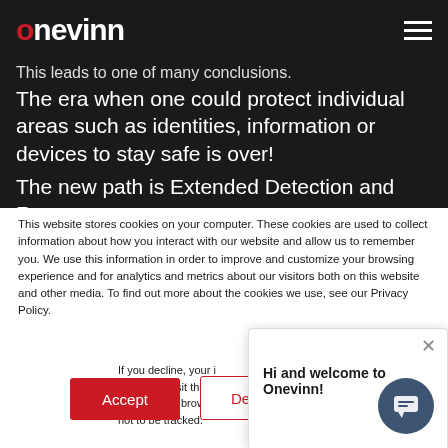onevinn (logo with hamburger menu)
This leads to one of many conclusions.
The era when one could protect individual areas such as identities, information or devices to stay safe is over!
The new path is Extended Detection and Response
This website stores cookies on your computer. These cookies are used to collect information about how you interact with our website and allow us to remember you. We use this information in order to improve and customize your browsing experience and for analytics and metrics about our visitors both on this website and other media. To find out more about the cookies we use, see our Privacy Policy.
If you decline, your i... when you visit this w... used in your browse... not to be tracked.
Accept
Decline
Hi and welcome to Onevinn!